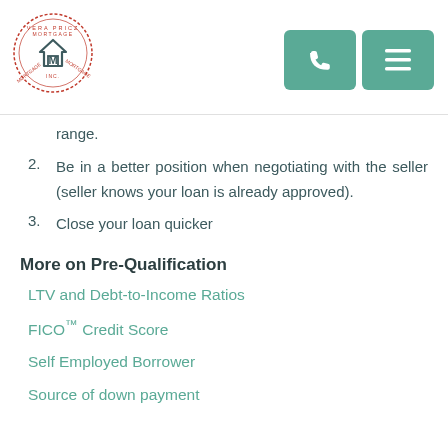Vera Pricz Mortgage Inc. logo and navigation
range.
2. Be in a better position when negotiating with the seller (seller knows your loan is already approved).
3. Close your loan quicker
More on Pre-Qualification
LTV and Debt-to-Income Ratios
FICO™ Credit Score
Self Employed Borrower
Source of down payment